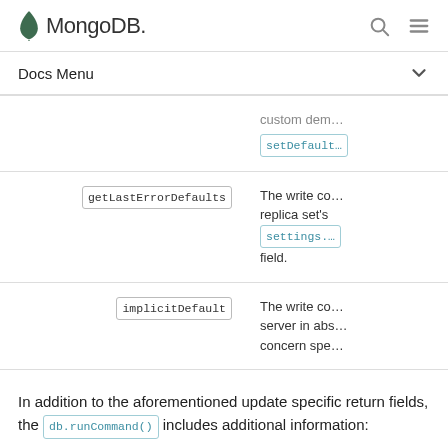MongoDB
Docs Menu
| Field | Description |
| --- | --- |
| setDefault… | custom dem… |
| getLastErrorDefaults | The write co… replica set's settings.… field. |
| implicitDefault | The write co… server in abs… concern spe… |
In addition to the aforementioned update specific return fields, the db.runCommand() includes additional information: